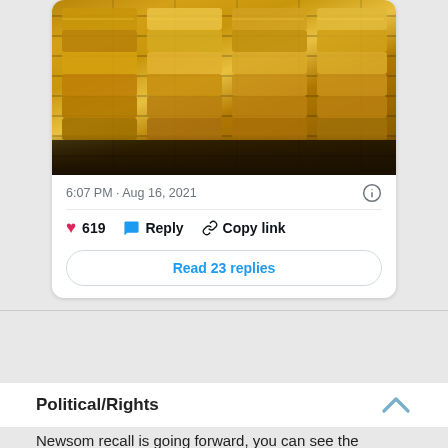[Figure (photo): Photo of stacked gold bars/ingots on a dark surface]
6:07 PM · Aug 16, 2021
619  Reply  Copy link
Read 23 replies
Political/Rights
Newsom recall is going forward, you can see the